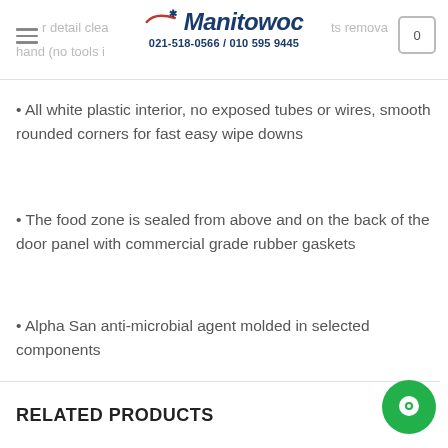Manitowoc 021-518-0566 / 010 595 9445
All white plastic interior, no exposed tubes or wires, smooth rounded corners for fast easy wipe downs
The food zone is sealed from above and on the back of the door panel with commercial grade rubber gaskets
Alpha San anti-microbial agent molded in selected components
RELATED PRODUCTS